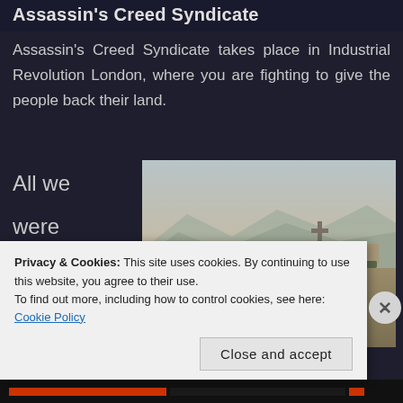Assassin's Creed Syndicate
Assassin's Creed Syndicate takes place in Industrial Revolution London, where you are fighting to give the people back their land.
[Figure (photo): Screenshot of a military-style video game showing a soldier with a rifle overlooking a desert town with a cross and ruined buildings, labeled Ghost Recon]
All we were shown was a CG
Privacy & Cookies: This site uses cookies. By continuing to use this website, you agree to their use.
To find out more, including how to control cookies, see here: Cookie Policy
Close and accept